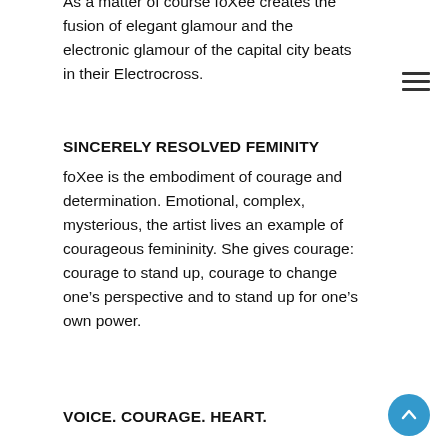As a matter of course foXee creates the fusion of elegant glamour and the electronic glamour of the capital city beats in their Electrocross.
SINCERELY RESOLVED FEMINITY
foXee is the embodiment of courage and determination. Emotional, complex, mysterious, the artist lives an example of courageous femininity. She gives courage: courage to stand up, courage to change one’s perspective and to stand up for one’s own power.
VOICE. COURAGE. HEART.